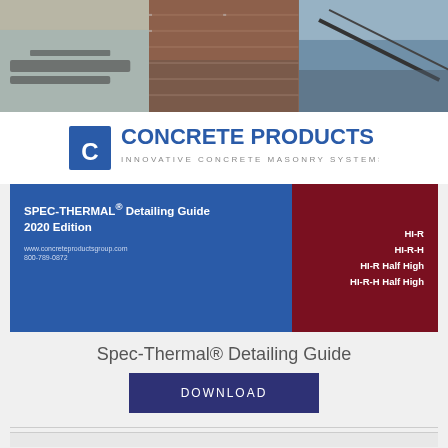[Figure (photo): Three construction/masonry work photos side by side at top of page]
[Figure (logo): Concrete Products Group logo with shield icon and tagline INNOVATIVE CONCRETE MASONRY SYSTEMS]
[Figure (illustration): SPEC-THERMAL Detailing Guide 2020 Edition cover image with blue and dark red panels, website www.concreteproductsgroup.com, phone 800-789-0872, product list HI-R, HI-R-H, HI-R Half High, HI-R-H Half High]
Spec-Thermal® Detailing Guide
DOWNLOAD